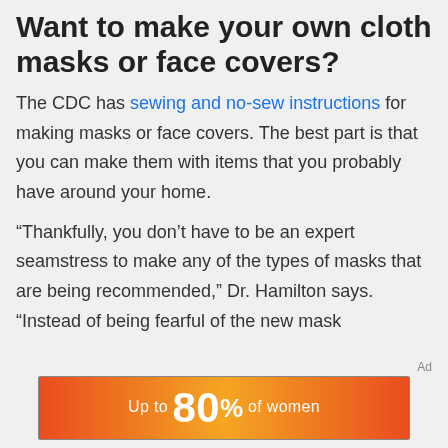Want to make your own cloth masks or face covers?
The CDC has sewing and no-sew instructions for making masks or face covers. The best part is that you can make them with items that you probably have around your home.
“Thankfully, you don’t have to be an expert seamstress to make any of the types of masks that are being recommended,” Dr. Hamilton says. “Instead of being fearful of the new mask
Ad
[Figure (infographic): Advertisement banner with orange-red gradient background showing text 'Up to 80% of women']